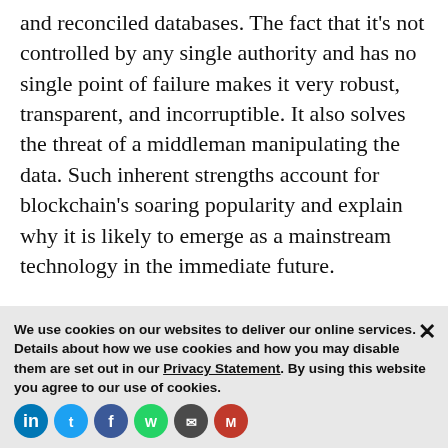and reconciled databases. The fact that it's not controlled by any single authority and has no single point of failure makes it very robust, transparent, and incorruptible. It also solves the threat of a middleman manipulating the data. Such inherent strengths account for blockchain's soaring popularity and explain why it is likely to emerge as a mainstream technology in the immediate future.
9. Cognitive cloud moves to center stage
Cognitive technologies, such as machine learning, are rapidly proliferating across multiple s...
We use cookies on our websites to deliver our online services. Details about how we use cookies and how you may disable them are set out in our Privacy Statement. By using this website you agree to our use of cookies.